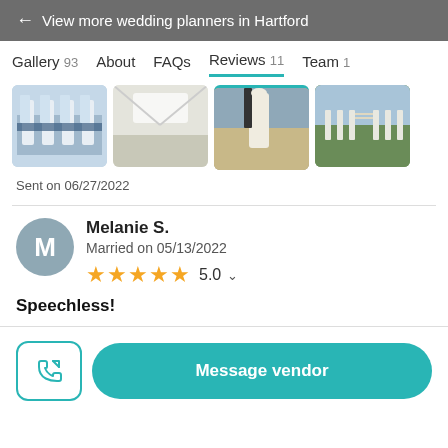← View more wedding planners in Hartford
Gallery 93
About
FAQs
Reviews 11
Team 1
[Figure (photo): Four wedding gallery photos showing table settings, venue, beach dress, and outdoor ceremony chairs]
Sent on 06/27/2022
Melanie S.
Married on 05/13/2022
★★★★★ 5.0
Speechless!
Message vendor